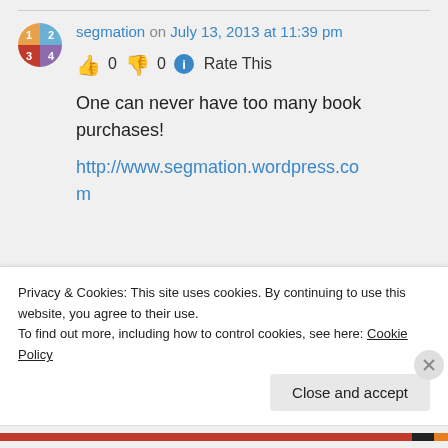segmation on July 13, 2013 at 11:39 pm
👍 0 👎 0 ℹ Rate This
One can never have too many book purchases!
http://www.segmation.wordpress.com
Privacy & Cookies: This site uses cookies. By continuing to use this website, you agree to their use. To find out more, including how to control cookies, see here: Cookie Policy
Close and accept